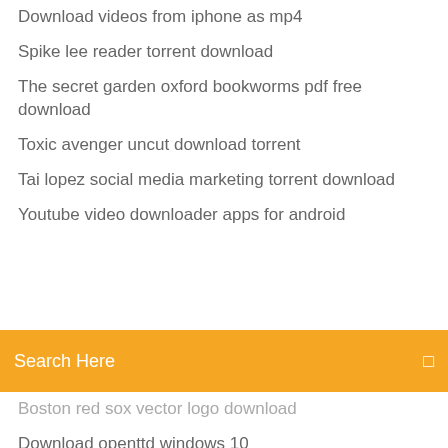Download videos from iphone as mp4
Spike lee reader torrent download
The secret garden oxford bookworms pdf free download
Toxic avenger uncut download torrent
Tai lopez social media marketing torrent download
Youtube video downloader apps for android
Search Here
Boston red sox vector logo download
Download openttd windows 10
Fast vpn free download for pc
Ios older version downloads
Pentium r dual core cpu e5700 drivers download
Google play store download on pc
Cartograph g minecraft download
Minecraft 1.2.6.2 download android
Download serato driver for pioneer ddj sx2
Samsung smart view 2.0 download pc
When download a torrent what does crack mean